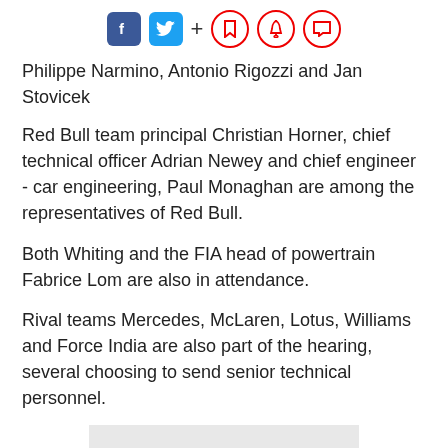[Figure (other): Social media sharing bar with Facebook, Twitter, plus sign, and three red circular icons (bookmark, bell, comment)]
Philippe Narmino, Antonio Rigozzi and Jan Stovicek
Red Bull team principal Christian Horner, chief technical officer Adrian Newey and chief engineer - car engineering, Paul Monaghan are among the representatives of Red Bull.
Both Whiting and the FIA head of powertrain Fabrice Lom are also in attendance.
Rival teams Mercedes, McLaren, Lotus, Williams and Force India are also part of the hearing, several choosing to send senior technical personnel.
[Figure (other): Gray placeholder rectangle/advertisement box]